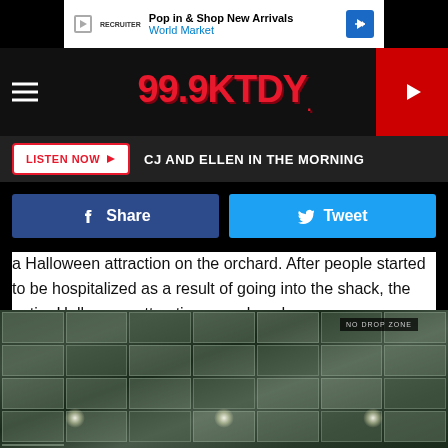[Figure (screenshot): Advertisement banner for World Market - Pop in & Shop New Arrivals]
99.9KTDY.
LISTEN NOW ▶  CJ AND ELLEN IN THE MORNING
Share   Tweet
a Halloween attraction on the orchard. After people started to be hospitalized as a result of going into the shack, the entire Halloween attraction was closed.
[Figure (photo): Mirrored ceiling/floor tiles reflecting lights, interior of a Halloween attraction]